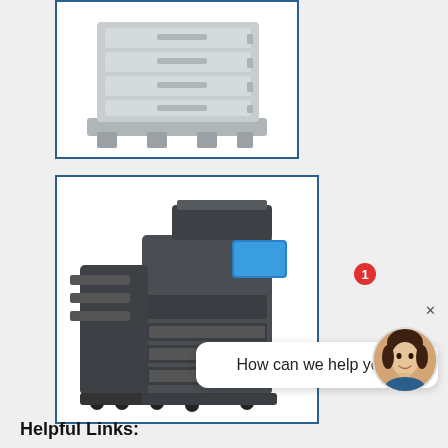[Figure (photo): Photo of a paper tray / cassette unit for a printer, light grey color, multiple drawer trays stacked, shown in a white box with dark blue border]
[Figure (photo): Photo of a large multifunction office printer/copier in dark grey, with a document finisher/stapler unit on the left, a touchscreen control panel, and multiple paper trays at the bottom, shown in a white box with dark blue border]
[Figure (other): Live chat widget showing a speech bubble with text 'How can we help you?' and a female avatar photo with a red notification badge showing '1', and an X close button]
Helpful Links: